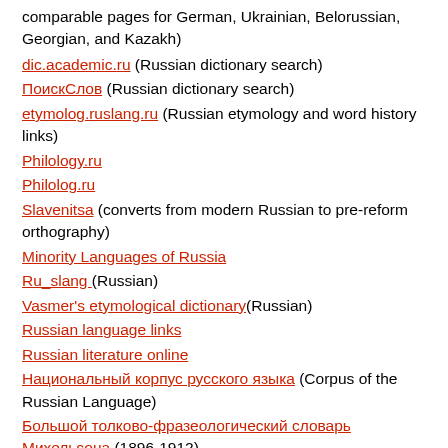comparable pages for German, Ukrainian, Belorussian, Georgian, and Kazakh)
dic.academic.ru (Russian dictionary search)
ПоискСлов (Russian dictionary search)
etymolog.ruslang.ru (Russian etymology and word history links)
Philology.ru
Philolog.ru
Slavenitsa (converts from modern Russian to pre-reform orthography)
Minority Languages of Russia
Ru_slang (Russian)
Vasmer's etymological dictionary(Russian)
Russian language links
Russian literature online
Национальный корпус русского языка (Corpus of the Russian Language)
Большой толково-фразеологический словарь Михельсона (1896-1912)
Словарь русских народных говоров [Russian dialect dictionary]
Старославянский словарь [Old Church Slavic dictionary]
Словарь русского языка XVIII в [Dictionary of 18th-c. Russian]
Russian Word of the Day